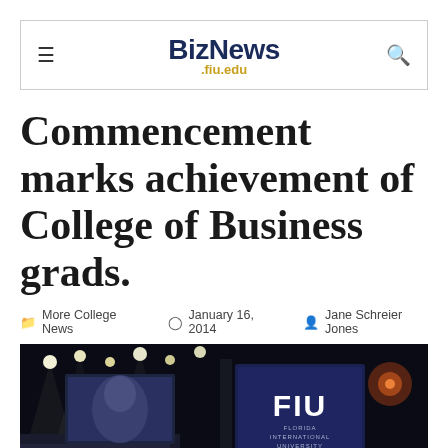BizNews .fiu.edu
Commencement marks achievement of College of Business grads.
More College News   January 16, 2014   Jane Schreier Jones
[Figure (photo): Indoor arena commencement ceremony at FIU, showing graduates in audience, large screens, stage lighting, and a dark blue banner reading FIU Florida International University]
Share This